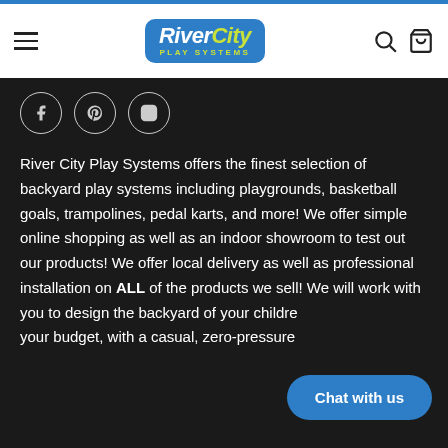RiverCity PLAY SYSTEMS — navigation header with hamburger menu, logo, search and cart icons
[Figure (logo): RiverCity Play Systems logo: blue rounded rectangle with white bold italic text 'RiverCity' and yellow-green 'PLAY SYSTEMS' subtitle]
[Figure (infographic): Social media icons: Facebook, Pinterest, Instagram in circular outlines on dark background]
River City Play Systems offers the finest selection of backyard play systems including playgrounds, basketball goals, trampolines, pedal karts, and more! We offer simple online shopping as well as an indoor showroom to test out our products! We offer local delivery as well as professional installation on ALL of the products we sell! We will work with you to design the backyard of your children's dreams within your budget, with a casual, zero-pressure